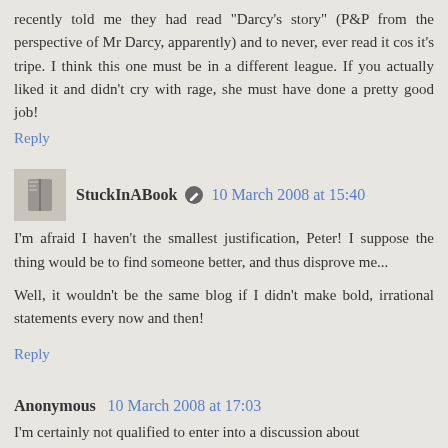recently told me they had read "Darcy's story" (P&P from the perspective of Mr Darcy, apparently) and to never, ever read it cos it's tripe. I think this one must be in a different league. If you actually liked it and didn't cry with rage, she must have done a pretty good job!
Reply
StuckInABook  10 March 2008 at 15:40
I'm afraid I haven't the smallest justification, Peter! I suppose the thing would be to find someone better, and thus disprove me...
Well, it wouldn't be the same blog if I didn't make bold, irrational statements every now and then!
Reply
Anonymous  10 March 2008 at 17:03
I'm certainly not qualified to enter into a discussion about